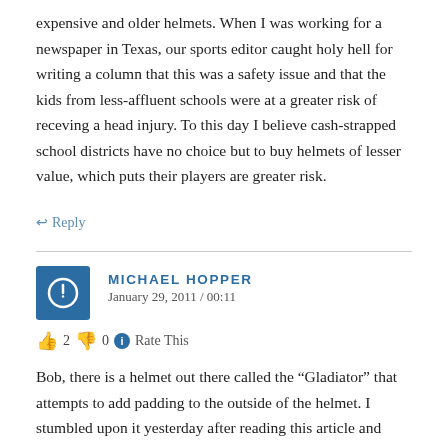expensive and older helmets. When I was working for a newspaper in Texas, our sports editor caught holy hell for writing a column that this was a safety issue and that the kids from less-affluent schools were at a greater risk of receving a head injury. To this day I believe cash-strapped school districts have no choice but to buy helmets of lesser value, which puts their players are greater risk.
↩ Reply
MICHAEL HOPPER
January 29, 2011 / 00:11
👍 2 👎 0 ℹ Rate This
Bob, there is a helmet out there called the "Gladiator" that attempts to add padding to the outside of the helmet. I stumbled upon it yesterday after reading this article and doing some research. It is funky looking. Also, you can find a picture of